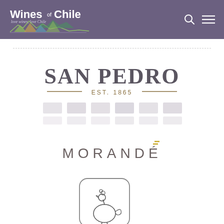Wines of Chile — navigation header with search and menu icons
[Figure (logo): San Pedro EST. 1865 logo with wine label images below]
[Figure (logo): MORANDÉ wordmark logo]
[Figure (logo): Rounded square icon with line-art illustration of a bird/figure]